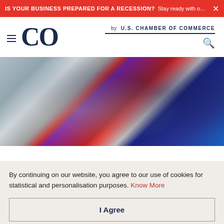IS YOUR BUSINESS PREPARED FOR A RECESSION? Stay ready with our small busin...
[Figure (logo): CO by U.S. Chamber of Commerce logo with hamburger menu and search icon]
[Figure (photo): Office scene with person in dark suit and red garment in background]
STRATEGY
By continuing on our website, you agree to our use of cookies for statistical and personalisation purposes. Know More
I Agree